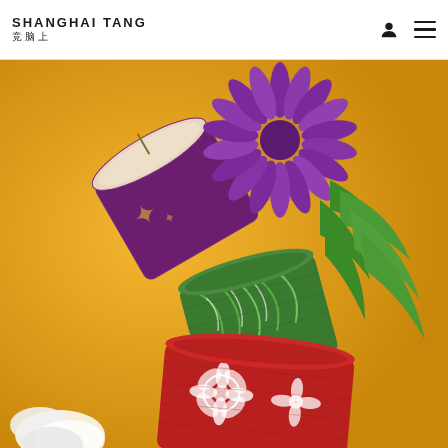SHANGHAI TANG 上海滩
[Figure (photo): Product photo showing three decorative cylindrical candle holders stacked diagonally on a golden/amber background. The top candle holder is purple/plum with a white interior and a wick visible, decorated with a gold scorpion motif, with a large purple chrysanthemum flower resting on top. The middle candle holder is green with a bamboo leaf pattern. The bottom candle holder is red with white hibiscus flower patterns. Green bamboo leaves extend to the right. A white fabric or flower is visible at the bottom left.]